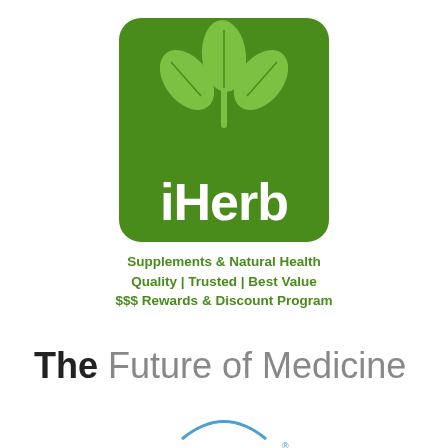[Figure (logo): iHerb logo: green rounded square with three light-green leaves above the white text 'iHerb']
Supplements & Natural Health
Quality | Trusted | Best Value
$$$ Rewards & Discount Program
The Future of Medicine
[Figure (logo): LifeWave logo with blue arc above the text LIFEWAVE with a registered trademark symbol, and a partial lightning-bolt or wave shape below]